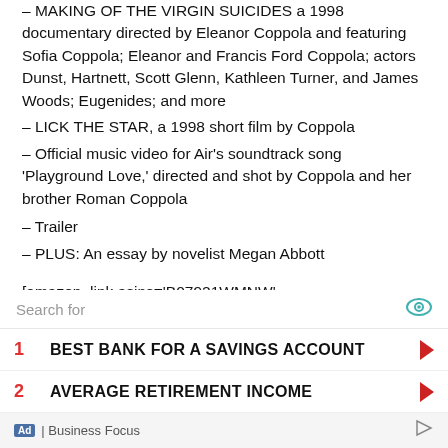– MAKING OF THE VIRGIN SUICIDES a 1998 documentary directed by Eleanor Coppola and featuring Sofia Coppola; Eleanor and Francis Ford Coppola; actors Dunst, Hartnett, Scott Glenn, Kathleen Turner, and James Woods; Eugenides; and more
– LICK THE STAR, a 1998 short film by Coppola
– Official music video for Air's soundtrack song 'Playground Love,' directed and shot by Coppola and her brother Roman Coppola
– Trailer
– PLUS: An essay by novelist Megan Abbott
[amazon_link asins='B07921WMNW' template='ProductGrid' store='API-user-hdr'
[Figure (screenshot): Advertisement overlay with search bar showing 'Search for' text and eye icon, two ad rows: 1. BEST BANK FOR A SAVINGS ACCOUNT, 2. AVERAGE RETIREMENT INCOME, footer with 'Ad | Business Focus']